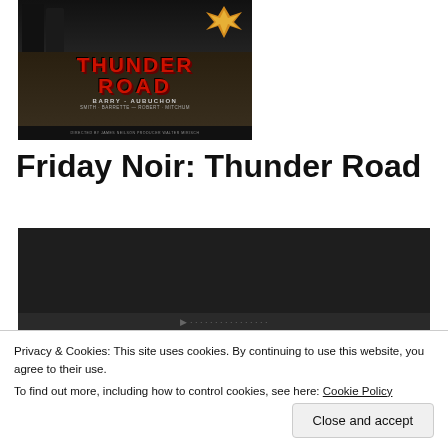[Figure (photo): Movie poster for 'Thunder Road' showing the title in red block letters with figures and an explosion in the background. Credits include Barry Aubuchon and other cast members.]
Friday Noir: Thunder Road
[Figure (screenshot): Embedded video player with dark background, partially visible.]
Privacy & Cookies: This site uses cookies. By continuing to use this website, you agree to their use.
To find out more, including how to control cookies, see here: Cookie Policy
Close and accept